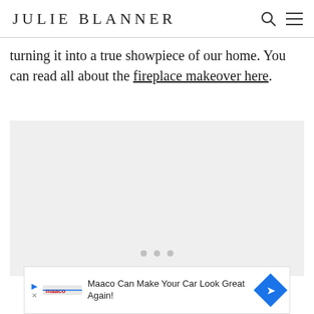JULIE BLANNER
turning it into a true showpiece of our home. You can read all about the fireplace makeover here.
[Figure (photo): Placeholder image area with three grey dots indicating a loading or carousel indicator]
[Figure (other): Advertisement banner: Maaco Can Make Your Car Look Great Again!]